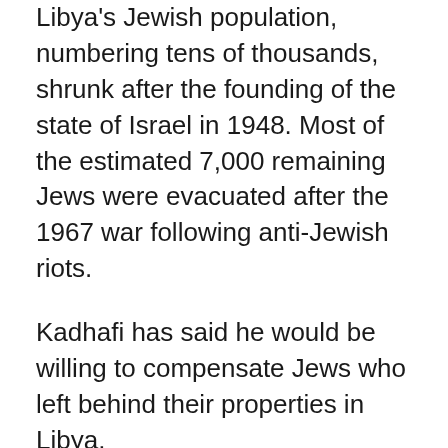Libya's Jewish population, numbering tens of thousands, shrunk after the founding of the state of Israel in 1948. Most of the estimated 7,000 remaining Jews were evacuated after the 1967 war following anti-Jewish riots.
Kadhafi has said he would be willing to compensate Jews who left behind their properties in Libya.
“All the Jewish community (living abroad) is waiting for my return so I can tell them about the results of this visit,” Luzon said, adding that he plans to make another return to Libya.
“All the Libyan Jews living in Palestine (did he